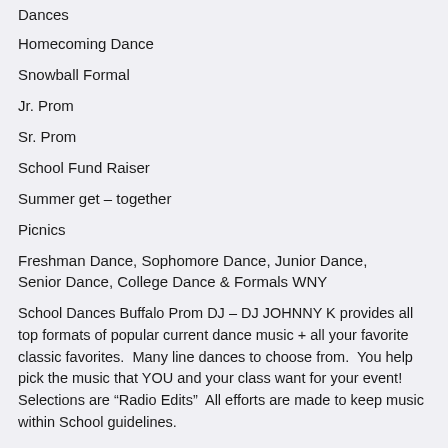Dances
Homecoming Dance
Snowball Formal
Jr. Prom
Sr. Prom
School Fund Raiser
Summer get – together
Picnics
Freshman Dance, Sophomore Dance, Junior Dance, Senior Dance, College Dance & Formals WNY
School Dances Buffalo Prom DJ – DJ JOHNNY K provides all top formats of popular current dance music + all your favorite classic favorites.  Many line dances to choose from.  You help pick the music that YOU and your class want for your event!  Selections are "Radio Edits"  All efforts are made to keep music within School guidelines.
DJ JOHNNY K has performed proms & dances at: Buffalo